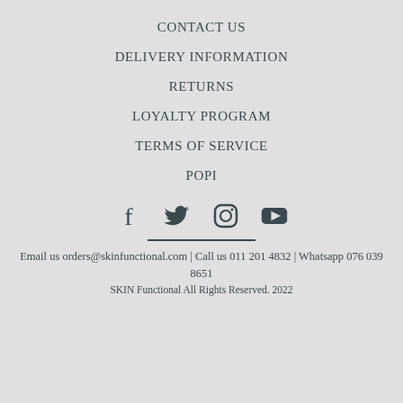CONTACT US
DELIVERY INFORMATION
RETURNS
LOYALTY PROGRAM
TERMS OF SERVICE
POPI
[Figure (infographic): Social media icons: Facebook, Twitter, Instagram, YouTube]
Email us orders@skinfunctional.com | Call us 011 201 4832 | Whatsapp 076 039 8651
SKIN Functional All Rights Reserved. 2022